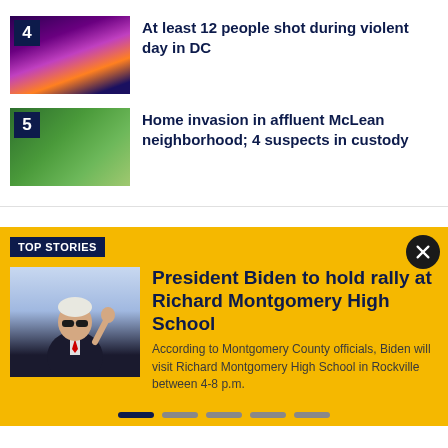[Figure (photo): News item 4: nighttime street scene with police lights, numbered badge '4']
At least 12 people shot during violent day in DC
[Figure (photo): News item 5: aerial view of houses with trees, numbered badge '5']
Home invasion in affluent McLean neighborhood; 4 suspects in custody
TOP STORIES
[Figure (photo): President Biden waving, wearing sunglasses, in a suit]
President Biden to hold rally at Richard Montgomery High School
According to Montgomery County officials, Biden will visit Richard Montgomery High School in Rockville between 4-8 p.m.